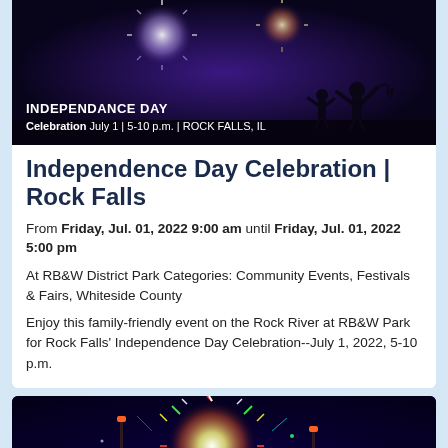[Figure (photo): Independence Day Celebration banner image showing fireworks and silhouette of a person with arms raised against a purple/blue night sky. Text overlay reads: INDEPENDANCE DAY Celebration July 1 | 5-10 p.m. | ROCK FALLS, IL]
Independence Day Celebration | Rock Falls
From Friday, Jul. 01, 2022 9:00 am until Friday, Jul. 01, 2022 5:00 pm
At RB&W District Park Categories: Community Events, Festivals & Fairs, Whiteside County
Enjoy this family-friendly event on the Rock River at RB&W Park for Rock Falls' Independence Day Celebration--July 1, 2022, 5-10 p.m.
[Figure (photo): Colorful fireworks bursting in a dark blue night sky, showing red, green, yellow and white sparks with light poles visible.]